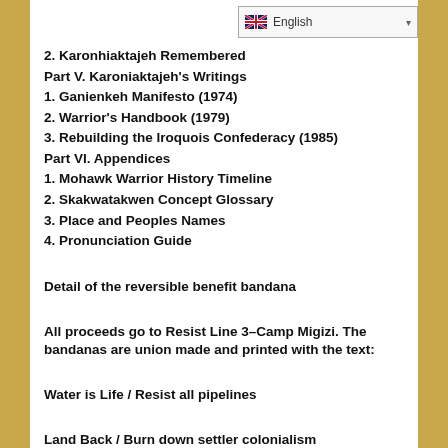2. Karonhiaktajeh Remembered
Part V. Karoniaktajeh's Writings
1. Ganienkeh Manifesto (1974)
2. Warrior's Handbook (1979)
3. Rebuilding the Iroquois Confederacy (1985)
Part VI. Appendices
1. Mohawk Warrior History Timeline
2. Skakwatakwen Concept Glossary
3. Place and Peoples Names
4. Pronunciation Guide
Detail of the reversible benefit bandana
All proceeds go to Resist Line 3–Camp Migizi. The bandanas are union made and printed with the text:
Water is Life / Resist all pipelines
Land Back / Burn down settler colonialism
Designed by Mantis, a Diné Two-Spirit Tattoo Artist